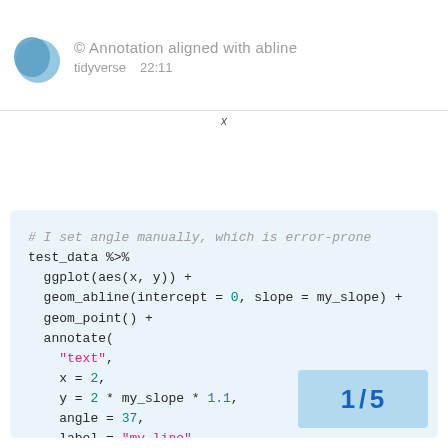© Annotation aligned with abline — tidyverse — 22:11
x
# I set angle manually, which is error-prone
test_data %>%
  ggplot(aes(x, y)) +
  geom_abline(intercept = 0, slope = my_slope) +
  geom_point() +
  annotate(
    "text",
    x = 2,
    y = 2 * my_slope * 1.1,
    angle = 37,
    label = "my line"
  )
1 / 5